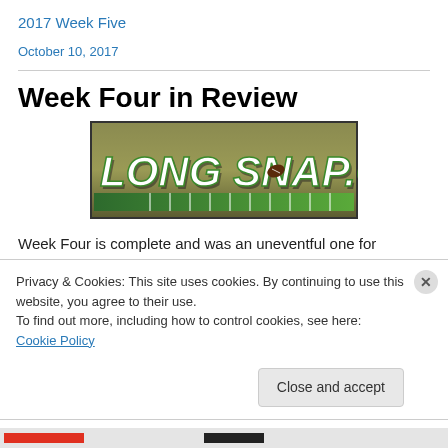2017 Week Five
October 10, 2017
Week Four in Review
[Figure (logo): Long Snap .com logo — dark olive/green background with white bold italic text reading 'LONG SNAP.COM', football graphic, and green yard-line markings at bottom]
Week Four is complete and was an uneventful one for
Privacy & Cookies: This site uses cookies. By continuing to use this website, you agree to their use.
To find out more, including how to control cookies, see here: Cookie Policy
Close and accept